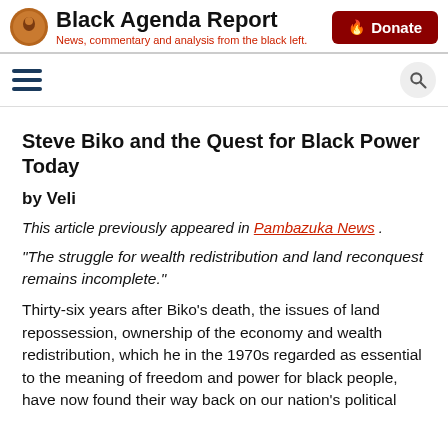Black Agenda Report — News, commentary and analysis from the black left.
Steve Biko and the Quest for Black Power Today
by Veli
This article previously appeared in Pambazuka News .
“The struggle for wealth redistribution and land reconquest remains incomplete.”
Thirty-six years after Biko’s death, the issues of land repossession, ownership of the economy and wealth redistribution, which he in the 1970s regarded as essential to the meaning of freedom and power for black people, have now found their way back on our nation’s political